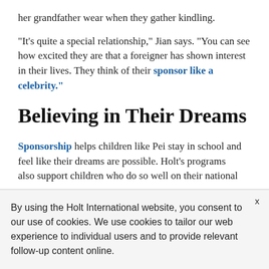her grandfather wear when they gather kindling.
“It’s quite a special relationship,” Jian says. “You can see how excited they are that a foreigner has shown interest in their lives. They think of their sponsor like a celebrity.”
Believing in Their Dreams
Sponsorship helps children like Pei stay in school and feel like their dreams are possible. Holt’s programs also support children who do so well on their national
By using the Holt International website, you consent to our use of cookies. We use cookies to tailor our web experience to individual users and to provide relevant follow-up content online.